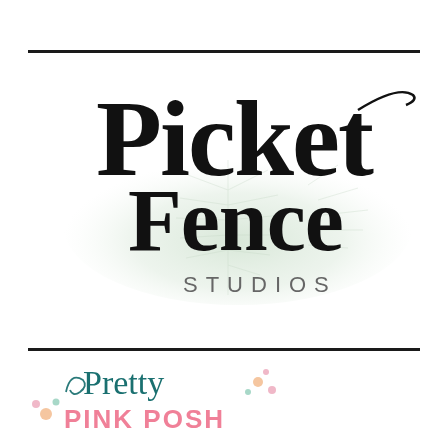[Figure (logo): Picket Fence Studios logo — cursive black script text reading 'Picket Fence' with 'STUDIOS' in spaced gray capitals below, overlaid on a soft green watercolor leaf background]
[Figure (logo): Pretty Pink Posh logo — cursive teal script reading 'Pretty' above pink block capitals 'PINK POSH', decorated with small colorful dot embellishments]